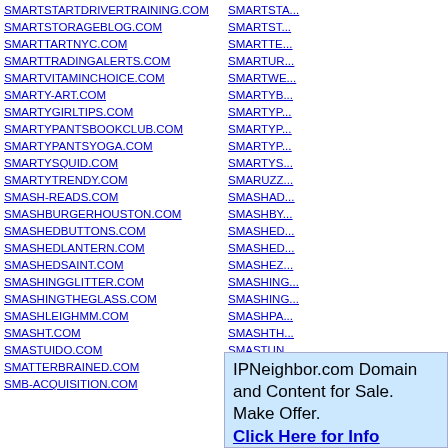SMARTSTARTDRIVERTRAINING.COM
SMARTSTORAGEBLOG.COM
SMARTTARTNYC.COM
SMARTTRADINGALERTS.COM
SMARTVITAMINCHOICE.COM
SMARTY-ART.COM
SMARTYGIRLTIPS.COM
SMARTYPANTSBOOKCLUB.COM
SMARTYPANTSYOGA.COM
SMARTYSQUID.COM
SMARTYTRENDY.COM
SMASH-READS.COM
SMASHBURGERHOUSTON.COM
SMASHEDBUTTONS.COM
SMASHEDLANTERN.COM
SMASHEDSAINT.COM
SMASHINGGLITTER.COM
SMASHINGTHEGLASS.COM
SMASHLEIGHMM.COM
SMASHT.COM
SMASTUIDO.COM
SMATTERBRAINED.COM
SMB-ACQUISITION.COM
SMBDYYOUKNOW.COM
SMBRANNOCK.COM
SMBSOCIALMEDIAWORKSHOP.COM
SMC2012.COM
SMCBPHOTO.COM
SMARTSTA...
SMARTST...
SMARTTE...
SMARTUR...
SMARTWE...
SMARTYB...
SMARTYP...
SMARTYP...
SMARTYP...
SMARTYS...
SMARUZZ...
SMASHAD...
SMASHBY...
SMASHED...
SMASHED...
SMASHEZ...
SMASHING...
SMASHING...
SMASHPA...
SMASHTH...
SMASTUN...
SMATTER...
SMBAMON...
IPNeighbor.com Domain and Content for Sale. Make Offer. Click Here for Info